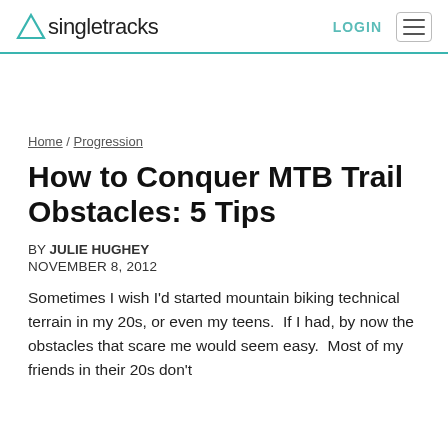Singletracks | LOGIN
Home / Progression
How to Conquer MTB Trail Obstacles: 5 Tips
BY JULIE HUGHEY
NOVEMBER 8, 2012
Sometimes I wish I'd started mountain biking technical terrain in my 20s, or even my teens.  If I had, by now the obstacles that scare me would seem easy.  Most of my friends in their 20s don't